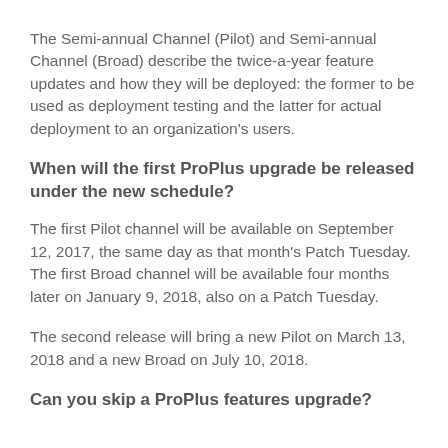The Semi-annual Channel (Pilot) and Semi-annual Channel (Broad) describe the twice-a-year feature updates and how they will be deployed: the former to be used as deployment testing and the latter for actual deployment to an organization's users.
When will the first ProPlus upgrade be released under the new schedule?
The first Pilot channel will be available on September 12, 2017, the same day as that month's Patch Tuesday. The first Broad channel will be available four months later on January 9, 2018, also on a Patch Tuesday.
The second release will bring a new Pilot on March 13, 2018 and a new Broad on July 10, 2018.
Can you skip a ProPlus features upgrade?